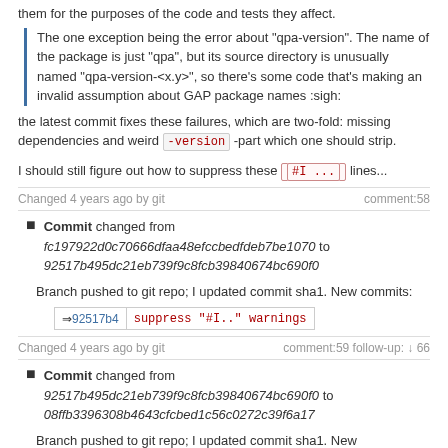them for the purposes of the code and tests they affect.
The one exception being the error about "qpa-version". The name of the package is just "qpa", but its source directory is unusually named "qpa-version-<x.y>", so there's some code that's making an invalid assumption about GAP package names :sigh:
the latest commit fixes these failures, which are two-fold: missing dependencies and weird -version -part which one should strip.
I should still figure out how to suppress these #I ... lines...
Changed 4 years ago by git    comment:58
Commit changed from fc197922d0c70666dfaa48efccbedfdeb7be1070 to 92517b495dc21eb739f9c8fcb39840674bc690f0
Branch pushed to git repo; I updated commit sha1. New commits:
| link | message |
| --- | --- |
| 92517b4 | suppress "#I.." warnings |
Changed 4 years ago by git    comment:59 follow-up: ↓ 66
Commit changed from 92517b495dc21eb739f9c8fcb39840674bc690f0 to 08ffb3396308b4643cfcbed1c56c0272c39f6a17
Branch pushed to git repo; I updated commit sha1. New